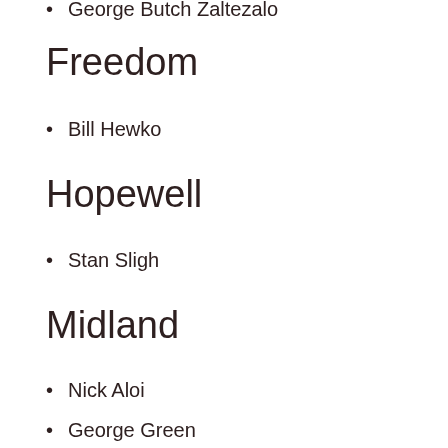George Butch Zaltezalo
Freedom
Bill Hewko
Hopewell
Stan Sligh
Midland
Nick Aloi
George Green